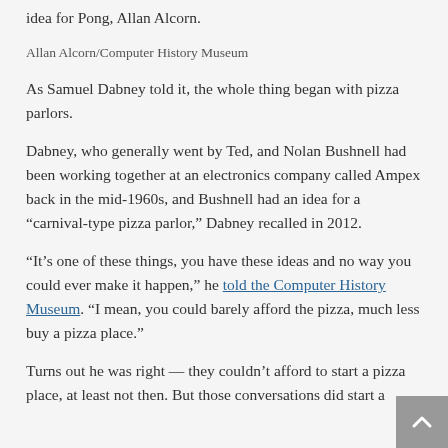idea for Pong, Allan Alcorn.
Allan Alcorn/Computer History Museum
As Samuel Dabney told it, the whole thing began with pizza parlors.
Dabney, who generally went by Ted, and Nolan Bushnell had been working together at an electronics company called Ampex back in the mid-1960s, and Bushnell had an idea for a “carnival-type pizza parlor,” Dabney recalled in 2012.
“It’s one of these things, you have these ideas and no way you could ever make it happen,” he told the Computer History Museum. “I mean, you could barely afford the pizza, much less buy a pizza place.”
Turns out he was right — they couldn’t afford to start a pizza place, at least not then. But those conversations did start a